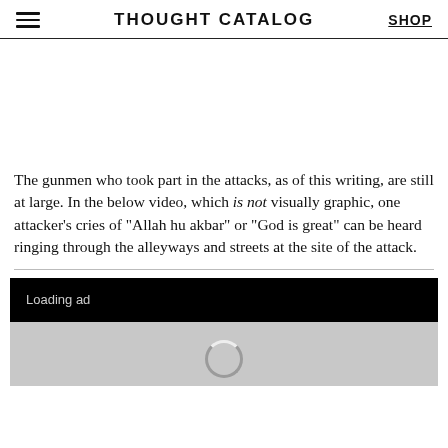THOUGHT CATALOG  SHOP
The gunmen who took part in the attacks, as of this writing, are still at large. In the below video, which is not visually graphic, one attacker’s cries of “Allah hu akbar” or “God is great” can be heard ringing through the alleyways and streets at the site of the attack.
[Figure (screenshot): Loading ad black banner above a grey video placeholder with a loading spinner]